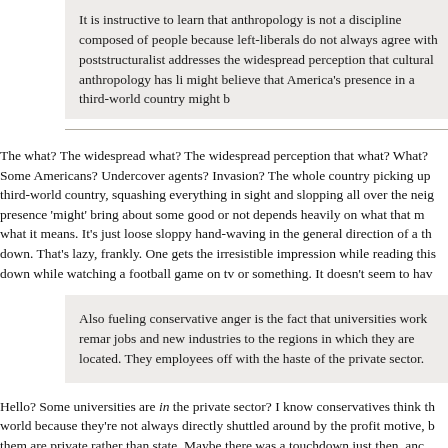It is instructive to learn that anthropology is not a discipline composed of people because left-liberals do not always agree with poststructuralist addresses the widespread perception that cultural anthropology has li might believe that America's presence in a third-world country might b
The what? The widespread what? The widespread perception that what? What? Some Americans? Undercover agents? Invasion? The whole country picking up third-world country, squashing everything in sight and slopping all over the neig presence 'might' bring about some good or not depends heavily on what that m what it means. It's just loose sloppy hand-waving in the general direction of a th down. That's lazy, frankly. One gets the irresistible impression while reading this down while watching a football game on tv or something. It doesn't seem to hav
Also fueling conservative anger is the fact that universities work remar jobs and new industries to the regions in which they are located. They employees off with the haste of the private sector.
Hello? Some universities are in the private sector? I know conservatives think th world because they're not always directly shuttled around by the profit motive, b them are private rather than state. Maybe there was a touchdown just then, anc